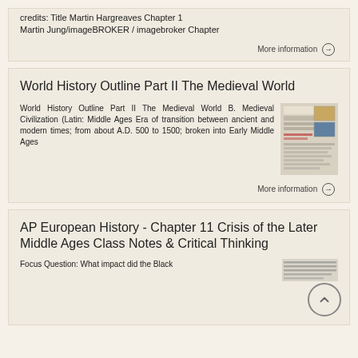credits: Title Martin Hargreaves Chapter 1 Martin Jung/imageBROKER / imagebroker Chapter
More information →
World History Outline Part II The Medieval World
World History Outline Part II The Medieval World B. Medieval Civilization (Latin: Middle Ages Era of transition between ancient and modern times; from about A.D. 500 to 1500; broken into Early Middle Ages
[Figure (screenshot): Thumbnail preview image of World History Outline Part II The Medieval World document]
More information →
AP European History - Chapter 11 Crisis of the Later Middle Ages Class Notes & Critical Thinking
Focus Question: What impact did the Black